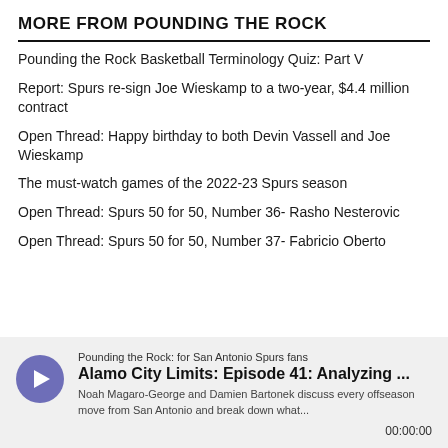MORE FROM POUNDING THE ROCK
Pounding the Rock Basketball Terminology Quiz: Part V
Report: Spurs re-sign Joe Wieskamp to a two-year, $4.4 million contract
Open Thread: Happy birthday to both Devin Vassell and Joe Wieskamp
The must-watch games of the 2022-23 Spurs season
Open Thread: Spurs 50 for 50, Number 36- Rasho Nesterovic
Open Thread: Spurs 50 for 50, Number 37- Fabricio Oberto
[Figure (other): Podcast player widget for 'Pounding the Rock: for San Antonio Spurs fans' — Alamo City Limits: Episode 41: Analyzing ... with description: Noah Magaro-George and Damien Bartonek discuss every offseason move from San Antonio and break down what... Timer showing 00:00:00]